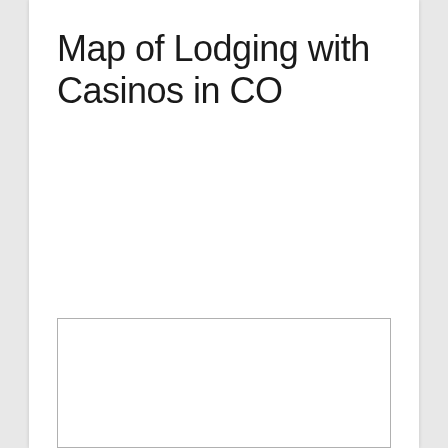Map of Lodging with Casinos in CO
[Figure (map): Partial map of lodging with casinos in Colorado, shown as a white box with gray border at the bottom of the page]